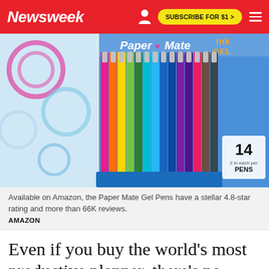Newsweek | SUBSCRIBE FOR $1 >
[Figure (photo): A pack of Paper Mate Ink Gel Pens in 14 assorted colors displayed in blue packaging against a colorful swirl background.]
Available on Amazon, the Paper Mate Gel Pens have a stellar 4.8-star rating and more than 66K reviews.
AMAZON
Even if you buy the world's most productive planner, there's no success or productivity